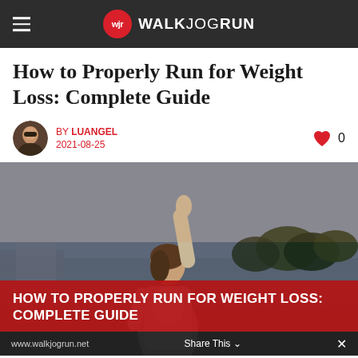WALKJOGRUN
How to Properly Run for Weight Loss: Complete Guide
BY LUANGEL
2021-08-25
[Figure (photo): Woman stretching with arms raised above her head outdoors near a waterfront, with trees and buildings in background. Red banner overlay reads: HOW TO PROPERLY RUN FOR WEIGHT LOSS: COMPLETE GUIDE]
HOW TO PROPERLY RUN FOR WEIGHT LOSS: COMPLETE GUIDE